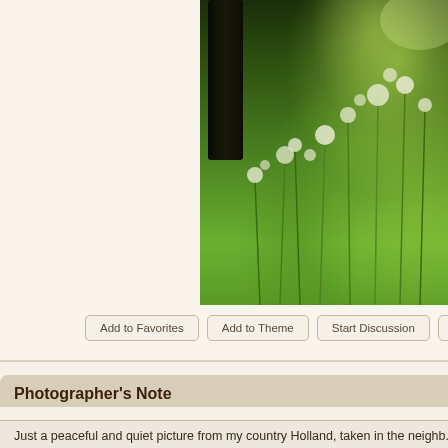[Figure (photo): Outdoor nature photograph showing lush green meadow vegetation with white wildflowers, tall grasses, and a dark tree trunk on the left side. The scene is from Holland countryside.]
Add to Favorites
Add to Theme
Start Discussion
Po...
Photographer's Note
Just a peaceful and quiet picture from my country Holland, taken in the neighb...